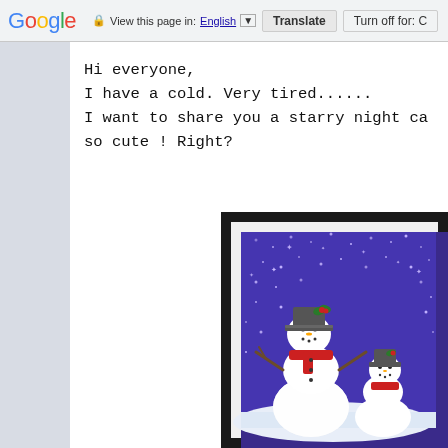Google   View this page in: English [▼]  Translate  Turn off for: C
Hi everyone,
I have a cold. Very tired......
I want to share you a starry night ca
so cute ! Right?
[Figure (illustration): A Christmas card featuring two snowmen on a starry night blue/purple background. The snowmen wear top hats decorated with holly, and scarves. The card is framed with a dark border.]